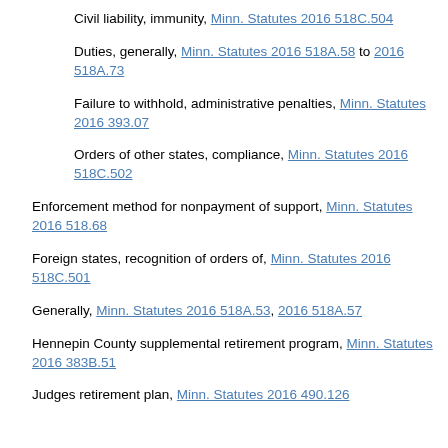Civil liability, immunity, Minn. Statutes 2016 518C.504
Duties, generally, Minn. Statutes 2016 518A.58 to 2016 518A.73
Failure to withhold, administrative penalties, Minn. Statutes 2016 393.07
Orders of other states, compliance, Minn. Statutes 2016 518C.502
Enforcement method for nonpayment of support, Minn. Statutes 2016 518.68
Foreign states, recognition of orders of, Minn. Statutes 2016 518C.501
Generally, Minn. Statutes 2016 518A.53, 2016 518A.57
Hennepin County supplemental retirement program, Minn. Statutes 2016 383B.51
Judges retirement plan, Minn. Statutes 2016 490.126